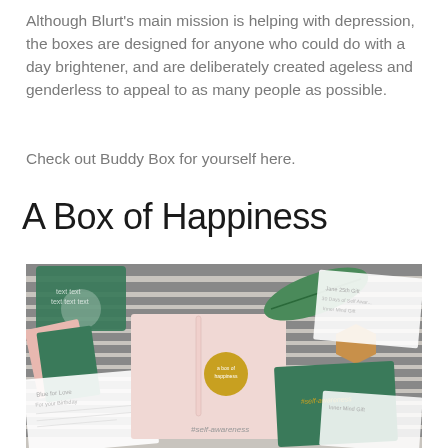Although Blurt's main mission is helping with depression, the boxes are designed for anyone who could do with a day brightener, and are deliberately created ageless and genderless to appeal to as many people as possible.
Check out Buddy Box for yourself here.
A Box of Happiness
[Figure (photo): Flatlay photo showing a Buddy Box subscription box contents spread out on a striped rug. Items include green and pink illustrated cards, a pink notebook with a gold circular sticker, a pen, a green hardcover book with gold foil text reading #self-awareness, a wooden geometric shape, and handwritten note cards arranged around the items.]